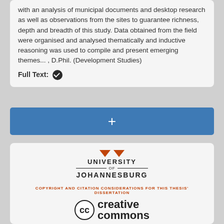with an analysis of municipal documents and desktop research as well as observations from the sites to guarantee richness, depth and breadth of this study. Data obtained from the field were organised and analysed thematically and inductive reasoning was used to compile and present emerging themes... , D.Phil. (Development Studies)
Full Text: ✔
[Figure (other): Blue button/bar with a plus (+) sign in the center]
[Figure (logo): University of Johannesburg logo with orange triangles and text]
COPYRIGHT AND CITATION CONSIDERATIONS FOR THIS THESIS' DISSERTATION
[Figure (logo): Creative Commons logo with CC circle and 'creative commons' text, plus BY NC SA license icons]